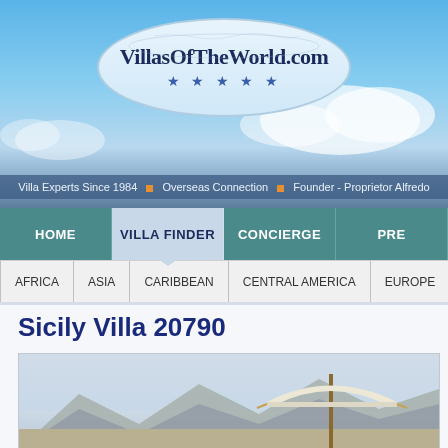[Figure (screenshot): VillasOfTheWorld.com website header with blue sky background and logo in oval]
VillasOfTheWorld.com
Villa Experts Since 1984 · Overseas Connection · Founder - Proprietor Alfredo
HOME | VILLA FINDER | CONCIERGE | PRE
AFRICA | ASIA | CARIBBEAN | CENTRAL AMERICA | EUROPE
Sicily Villa 20790
[Figure (photo): Outdoor terrace scene with white umbrella and mountains in the background]